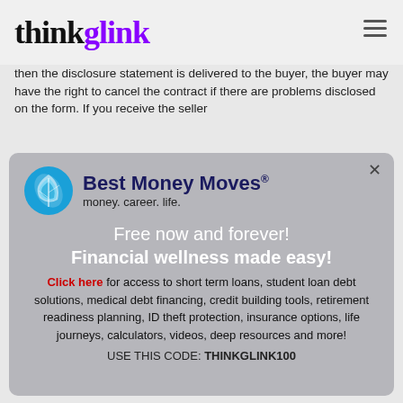thinkglink
then the disclosure statement is delivered to the buyer, the buyer may have the right to cancel the contract if there are problems disclosed on the form. If you receive the seller
[Figure (logo): Best Money Moves logo with blue circular leaf icon, bold dark navy text 'Best Money Moves®' and tagline 'money. career. life.']
Free now and forever! Financial wellness made easy!
Click here for access to short term loans, student loan debt solutions, medical debt financing, credit building tools, retirement readiness planning, ID theft protection, insurance options, life journeys, calculators, videos, deep resources and more!
USE THIS CODE: THINKGLINK100